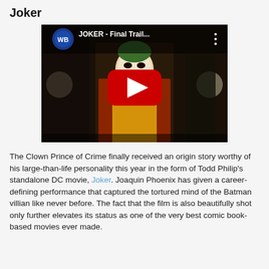Joker
[Figure (screenshot): YouTube video thumbnail for 'JOKER - Final Trail...' showing Joaquin Phoenix in Joker costume with WB logo, red YouTube play button overlay]
The Clown Prince of Crime finally received an origin story worthy of his large-than-life personality this year in the form of Todd Philip's standalone DC movie, Joker. Joaquin Phoenix has given a career-defining performance that captured the tortured mind of the Batman villian like never before. The fact that the film is also beautifully shot only further elevates its status as one of the very best comic book-based movies ever made.